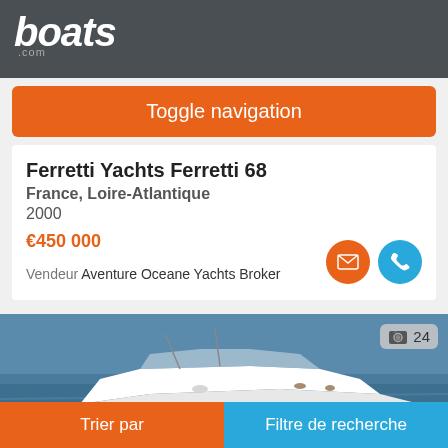boats .com
Toggle navigation
Ferretti Yachts Ferretti 68
France, Loire-Atlantique
2000
€450 000
Vendeur Aventure Oceane Yachts Broker
[Figure (photo): Aerial/side view of a white luxury motor yacht (Ferretti 68) on blue water, with people visible on deck. Photo count badge showing camera icon and '24'.]
Trier par
Filtre de recherche